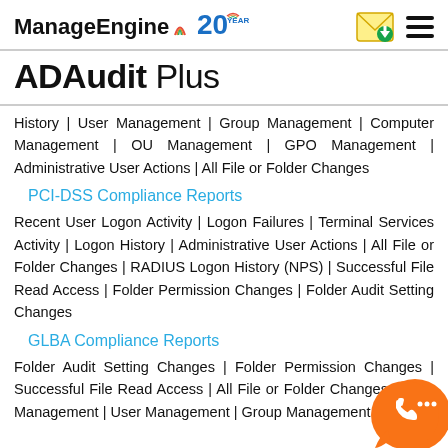ManageEngine 20 YEARS
ADAudit Plus
History | User Management | Group Management | Computer Management | OU Management | GPO Management | Administrative User Actions | All File or Folder Changes
PCI-DSS Compliance Reports
Recent User Logon Activity | Logon Failures | Terminal Services Activity | Logon History | Administrative User Actions | All File or Folder Changes | RADIUS Logon History (NPS) | Successful File Read Access | Folder Permission Changes | Folder Audit Setting Changes
GLBA Compliance Reports
Folder Audit Setting Changes | Folder Permission Changes | Successful File Read Access | All File or Folder Changes | GPO Management | User Management | Group Management |